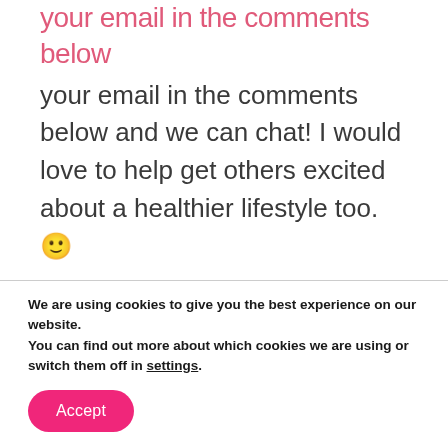your email in the comments below and we can chat! I would love to help get others excited about a healthier lifestyle too. 🙂
I'm also hosting a FREE 5 Day Clean Eating challenge that starts Monday. You can find all of the details and join that challenge here. It'll be a short
We are using cookies to give you the best experience on our website.
You can find out more about which cookies we are using or switch them off in settings.
Accept